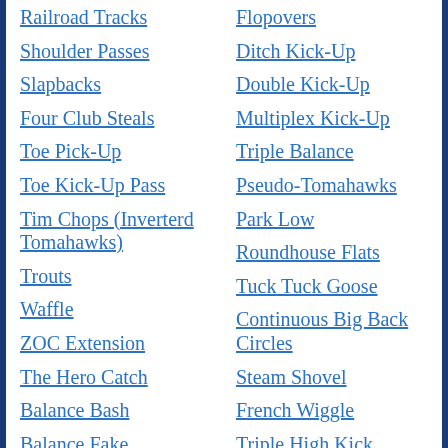Railroad Tracks
Shoulder Passes
Slapbacks
Four Club Steals
Toe Pick-Up
Toe Kick-Up Pass
Tim Chops (Inverterd Tomahawks)
Trouts
Waffle
ZOC Extension
The Hero Catch
Balance Bash
Balance Fake
Balance Send
Flopovers
Ditch Kick-Up
Double Kick-Up
Multiplex Kick-Up
Triple Balance
Pseudo-Tomahawks
Park Low
Roundhouse Flats
Tuck Tuck Goose
Continuous Big Back Circles
Steam Shovel
French Wiggle
Triple High Kick
Kick, Reverse Knob Spin